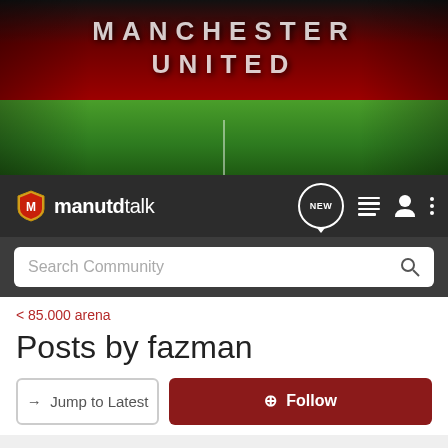[Figure (photo): Manchester United stadium (Old Trafford) banner image with red stands and green pitch]
manutdtalk — navigation bar with NEW, list, person, and menu icons, plus Search Community search bar
< 85.000 arena
Posts by fazman
→ Jump to Latest
+ Follow
1 - 4 of 4 Posts
fazman · Banned
Joined Feb 20, 2008 · 1,238 Posts